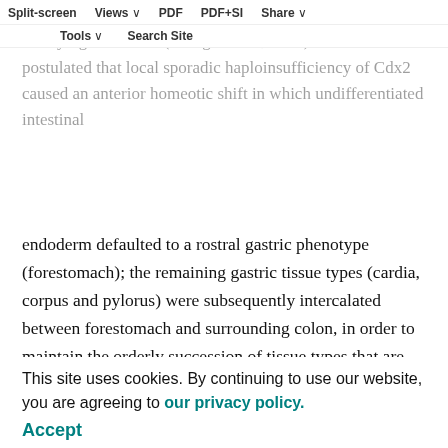Split-screen  Views  PDF  PDF+SI  Share  Tools  Search Site
developing polyps and Sox2 was expressed in the overlying endoderm (Stringer et al., 2008). It was postulated that local sporadic haploinsufficiency of Cdx2 caused an anterior homeotic shift in which undifferentiated intestinal endoderm defaulted to a rostral gastric phenotype (forestomach); the remaining gastric tissue types (cardia, corpus and pylorus) were subsequently intercalated between forestomach and surrounding colon, in order to maintain the orderly succession of tissue types that are established during normal stomach development. Chimaeric studies using Cdx2−/− cells in wild-type hosts confirmed these observations (Beck et al., 2003). Gao et al. (Gao et al., 2009) overcame the embryonic lethality of Cdx2 [embryonic endoderm early in development], thus inactivating gene expression throughout the intestine. They confirm that
This site uses cookies. By continuing to use our website, you are agreeing to our privacy policy.
Accept